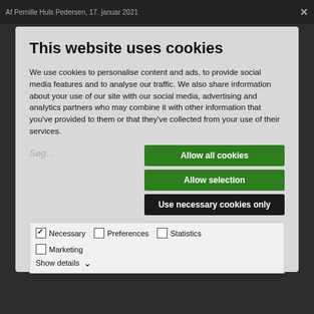Af Pernille Huls Pedersen, 17. januar 2021
This website uses cookies
We use cookies to personalise content and ads, to provide social media features and to analyse our traffic. We also share information about your use of our site with our social media, advertising and analytics partners who may combine it with other information that you've provided to them or that they've collected from your use of their services.
Allow all cookies
Allow selection
Use necessary cookies only
Necessary  Preferences  Statistics  Marketing  Show details